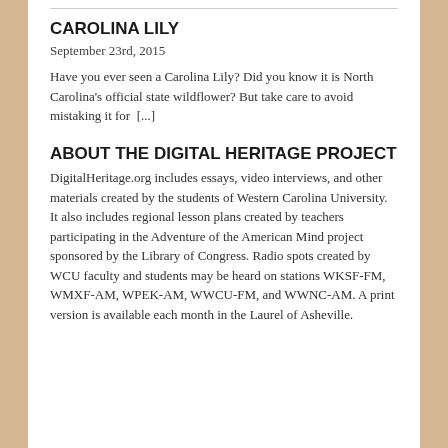CAROLINA LILY
September 23rd, 2015
Have you ever seen a Carolina Lily? Did you know it is North Carolina's official state wildflower? But take care to avoid mistaking it for  [...]
ABOUT THE DIGITAL HERITAGE PROJECT
DigitalHeritage.org includes essays, video interviews, and other materials created by the students of Western Carolina University. It also includes regional lesson plans created by teachers participating in the Adventure of the American Mind project sponsored by the Library of Congress. Radio spots created by WCU faculty and students may be heard on stations WKSF-FM, WMXF-AM, WPEK-AM, WWCU-FM, and WWNC-AM. A print version is available each month in the Laurel of Asheville.